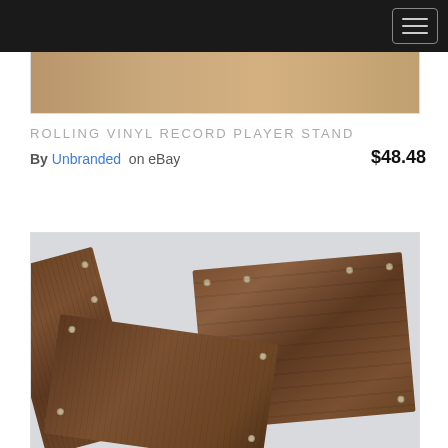[Figure (photo): Top portion of a wooden record player stand, cropped view showing wood surface with warm tan/brown color]
ROLLING VINYL RECORD PLAYER STAND
By Unbranded on eBay  $48.48
[Figure (photo): Unassembled dark walnut-finish wood panels of a rolling vinyl record player stand lying on a white floor, showing multiple flat board pieces with metal hardware holes]